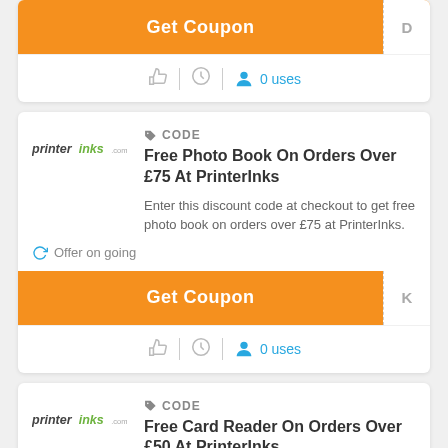[Figure (screenshot): Top partial card showing Get Coupon button with code box 'D' and stats bar with thumbs up, clock, and 0 uses icons]
[Figure (screenshot): Coupon card for PrinterInks: Free Photo Book On Orders Over £75 with Get Coupon button code 'K' and 0 uses]
CODE
Free Photo Book On Orders Over £75 At PrinterInks
Enter this discount code at checkout to get free photo book on orders over £75 at PrinterInks.
Offer on going
[Figure (screenshot): Second coupon card for PrinterInks: Free Card Reader On Orders Over £50 with description text]
CODE
Free Card Reader On Orders Over £50 At PrinterInks
Enter this discount code at checkout to get free card reader on orders over £50 at PrinterInks.